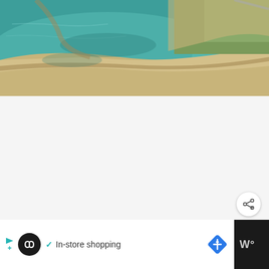[Figure (photo): Aerial view of a sandy beach with teal/green shallow water and sandy dunes with grass]
[Figure (infographic): White/light gray content area with heart (favorite) button in teal, share button in white, and a What's Next card showing a thumbnail and 'Hiking The Cup And...' text]
[Figure (infographic): Advertisement bar at bottom: dark background with white ad box showing a circular logo, checkmark, 'In-store shopping' text, blue diamond navigation icon, and right section with Waze-style icon]